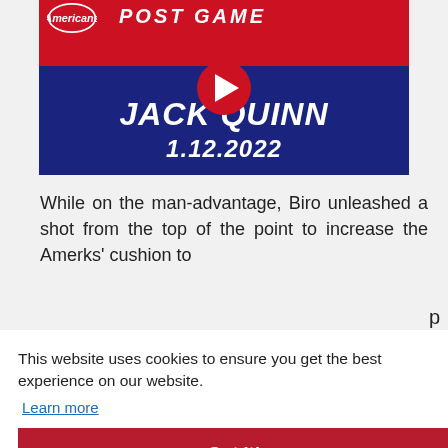[Figure (screenshot): Video thumbnail for Rochester Americans Post Game featuring Jack Quinn, dated 1.12.2022, with a red top section and dark blue bottom, YouTube play button overlay]
While on the man-advantage, Biro unleashed a shot from the top of the point to increase the Amerks' cushion to
This website uses cookies to ensure you get the best experience on our website.
Learn more
Got it!
the scoresheet 3:05 apart, but Rochester